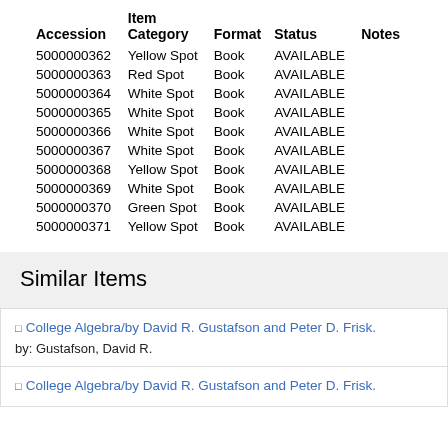| Accession | Item Category | Format | Status | Notes |
| --- | --- | --- | --- | --- |
| 5000000362 | Yellow Spot | Book | AVAILABLE |  |
| 5000000363 | Red Spot | Book | AVAILABLE |  |
| 5000000364 | White Spot | Book | AVAILABLE |  |
| 5000000365 | White Spot | Book | AVAILABLE |  |
| 5000000366 | White Spot | Book | AVAILABLE |  |
| 5000000367 | White Spot | Book | AVAILABLE |  |
| 5000000368 | Yellow Spot | Book | AVAILABLE |  |
| 5000000369 | White Spot | Book | AVAILABLE |  |
| 5000000370 | Green Spot | Book | AVAILABLE |  |
| 5000000371 | Yellow Spot | Book | AVAILABLE |  |
Similar Items
College Algebra/by David R. Gustafson and Peter D. Frisk. by: Gustafson, David R.
College Algebra/by David R. Gustafson and Peter D. Frisk.